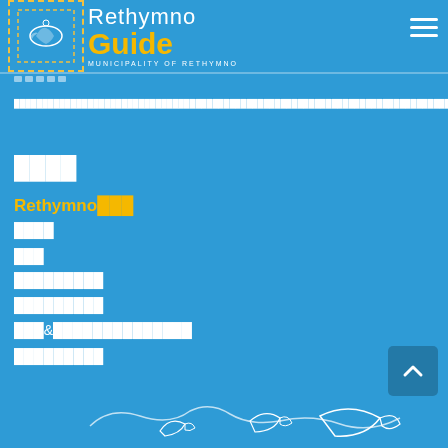Rethymno Guide - Municipality of Rethymno
████████████████████████████████████████████████████████████████████████████████████████████████████████████████████████████████████████████████████
████
Rethymno███
████
███
█████████
█████████
███&██████████████
█████████
[Figure (illustration): Bottom illustration with dolphin/Crete island outlines in white line art on blue background]